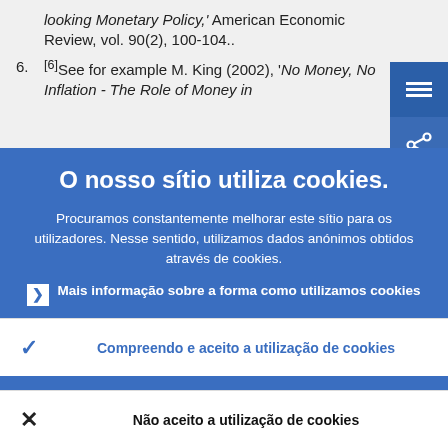Woodford (2000), 'Pitfalls of Forward-looking Monetary Policy,' American Economic Review, vol. 90(2), 100-104..
[6]See for example M. King (2002), 'No Money, No Inflation - The Role of Money in
O nosso sítio utiliza cookies.
Procuramos constantemente melhorar este sítio para os utilizadores. Nesse sentido, utilizamos dados anónimos obtidos através de cookies.
Mais informação sobre a forma como utilizamos cookies
Compreendo e aceito a utilização de cookies
Não aceito a utilização de cookies